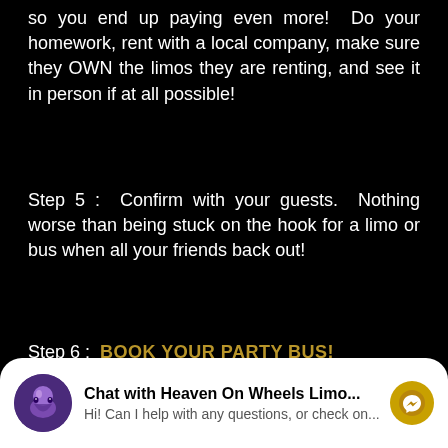so you end up paying even more!  Do your homework, rent with a local company, make sure they OWN the limos they are renting, and see it in person if at all possible!
Step 5 :  Confirm with your guests.  Nothing worse than being stuck on the hook for a limo or bus when all your friends back out!
Step 6 :  BOOK YOUR PARTY BUS!
[Figure (other): Tweet button in blue pill shape with Twitter bird icon]
SPRINTER BUS LIMO IN
[Figure (other): Chat widget for Heaven On Wheels Limo with avatar, title, subtitle, and Messenger icon]